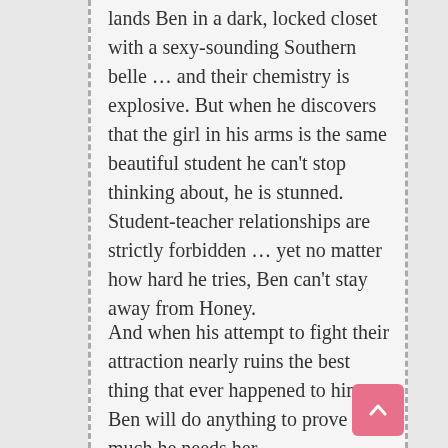lands Ben in a dark, locked closet with a sexy-sounding Southern belle … and their chemistry is explosive. But when he discovers that the girl in his arms is the same beautiful student he can't stop thinking about, he is stunned. Student-teacher relationships are strictly forbidden … yet no matter how hard he tries, Ben can't stay away from Honey.
And when his attempt to fight their attraction nearly ruins the best thing that ever happened to him, Ben will do anything to prove how much he needs her.